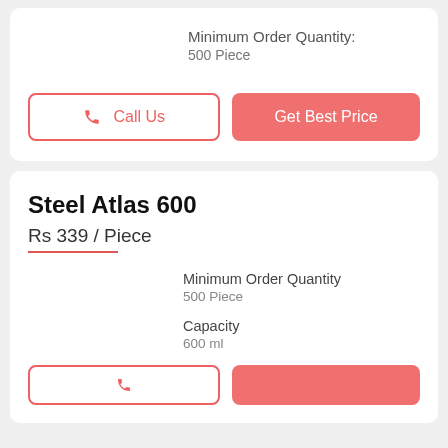Minimum Order Quantity: 500 Piece
Call Us
Get Best Price
Steel Atlas 600
Rs 339 / Piece
Minimum Order Quantity
500 Piece
Capacity
600 ml